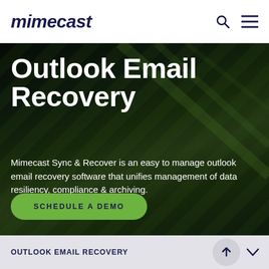mimecast
Outlook Email Recovery
Mimecast Sync & Recover is an easy to manage outlook email recovery software that unifies management of data resiliency, compliance & archiving.
SCHEDULE A DEMO
OUTLOOK EMAIL RECOVERY